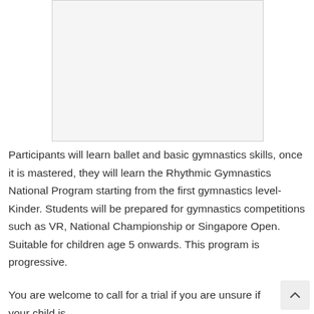[Figure (photo): White/blank image placeholder area at top of page]
Participants will learn ballet and basic gymnastics skills, once it is mastered, they will learn the Rhythmic Gymnastics National Program starting from the first gymnastics level- Kinder. Students will be prepared for gymnastics competitions such as VR, National Championship or Singapore Open. Suitable for children age 5 onwards. This program is progressive.
You are welcome to call for a trial if you are unsure if your child is